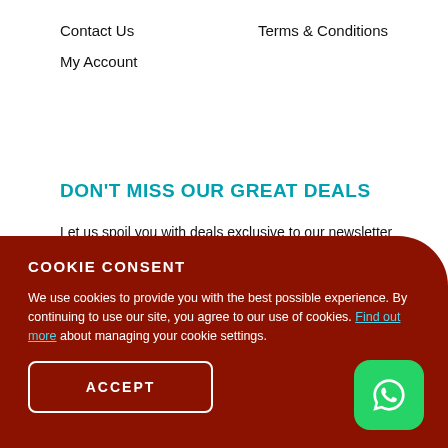Contact Us
Terms & Conditions
My Account
DON'T MISS OUR GREAT DEALS
Let us spoil you with deals exclusive to our newsletter subscribers.
Name
Email
COOKIE CONSENT
We use cookies to provide you with the best possible experience. By continuing to use our site, you agree to our use of cookies. Find out more about managing your cookie settings.
ACCEPT